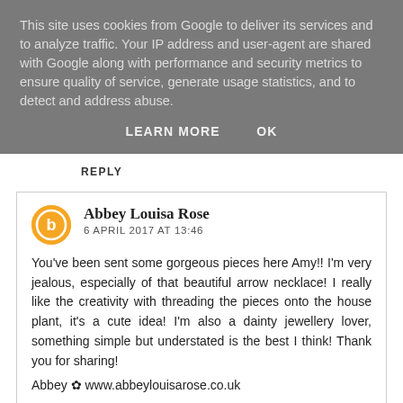This site uses cookies from Google to deliver its services and to analyze traffic. Your IP address and user-agent are shared with Google along with performance and security metrics to ensure quality of service, generate usage statistics, and to detect and address abuse.
LEARN MORE   OK
REPLY
Abbey Louisa Rose
6 APRIL 2017 AT 13:46
You've been sent some gorgeous pieces here Amy!! I'm very jealous, especially of that beautiful arrow necklace! I really like the creativity with threading the pieces onto the house plant, it's a cute idea! I'm also a dainty jewellery lover, something simple but understated is the best I think! Thank you for sharing!
Abbey ✿ www.abbeylouisarose.co.uk